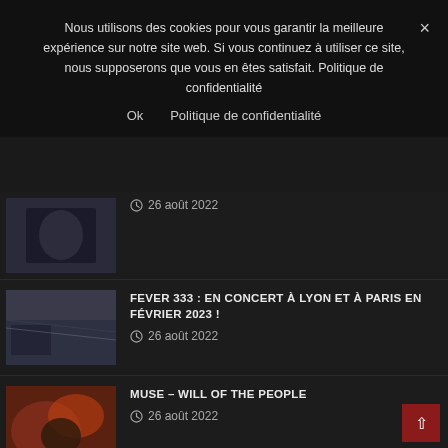Nous utilisons des cookies pour vous garantir la meilleure expérience sur notre site web. Si vous continuez à utiliser ce site, nous supposerons que vous en êtes satisfait. Politique de confidentialité
Ok   Politique de confidentialité
26 août 2022
FEVER 333 : EN CONCERT À LYON ET À PARIS EN FÉVRIER 2023 !
26 août 2022
MUSE – WILL OF THE PEOPLE
26 août 2022
HELLFEST 2022 – QUEL BILAN ?
24 août 2022